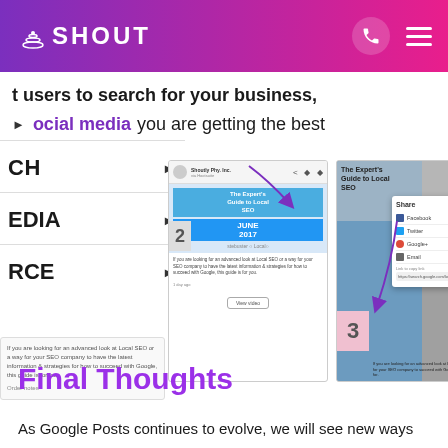SHOUT
t users to search for your business,
ocial media you are getting the best
CH
EDIA
RCE
[Figure (screenshot): Two screenshots of a LinkedIn post showing 'The Expert's Guide to Local SEO' with arrows demonstrating a share dialog, step 2 and step 3 numbered.]
Final Thoughts
As Google Posts continues to evolve, we will see new ways